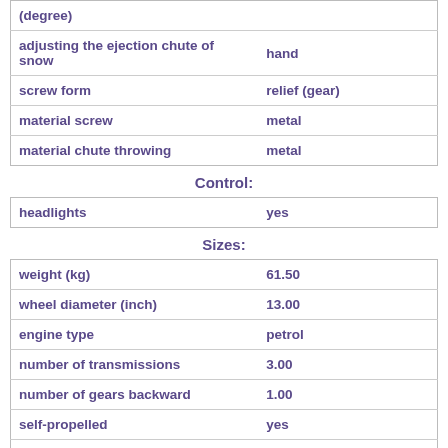| property | value |
| --- | --- |
| (degree) |  |
| adjusting the ejection chute of snow | hand |
| screw form | relief (gear) |
| material screw | metal |
| material chute throwing | metal |
Control:
| property | value |
| --- | --- |
| headlights | yes |
Sizes:
| property | value |
| --- | --- |
| weight (kg) | 61.50 |
| wheel diameter (inch) | 13.00 |
| engine type | petrol |
| number of transmissions | 3.00 |
| number of gears backward | 1.00 |
| self-propelled | yes |
| fuel tank capacity (L) | 3.00 |
| motor power (hp) | 6.50 |
| transmission | speed gearbox |